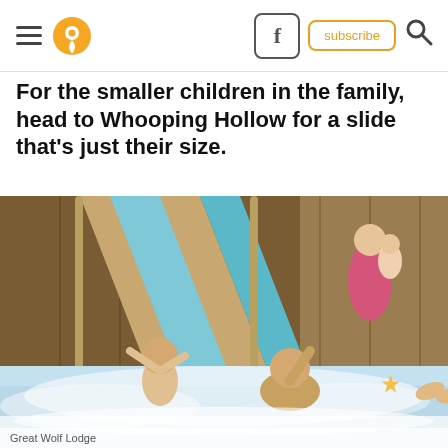Navigation header with hamburger menu, pin/location icon, Facebook button, subscribe button, and search icon
For the smaller children in the family, head to Whooping Hollow for a slide that's just their size.
[Figure (photo): Indoor water park photo showing children and adults playing in the pool area with a light-blue and tan water slide in the background. A woman holds a baby in the background. Children and an adult are splashing in shallow water in the foreground.]
Great Wolf Lodge